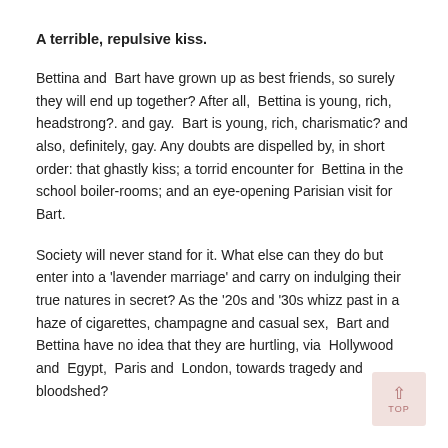A terrible, repulsive kiss.
Bettina and Bart have grown up as best friends, so surely they will end up together? After all, Bettina is young, rich, headstrong?. and gay. Bart is young, rich, charismatic? and also, definitely, gay. Any doubts are dispelled by, in short order: that ghastly kiss; a torrid encounter for Bettina in the school boiler-rooms; and an eye-opening Parisian visit for Bart.
Society will never stand for it. What else can they do but enter into a 'lavender marriage' and carry on indulging their true natures in secret? As the '20s and '30s whizz past in a haze of cigarettes, champagne and casual sex, Bart and Bettina have no idea that they are hurtling, via Hollywood and Egypt, Paris and London, towards tragedy and bloodshed?